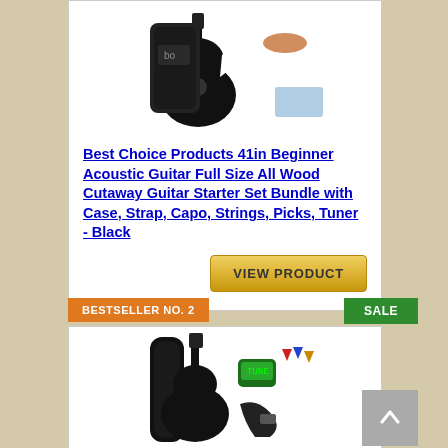[Figure (photo): Product photo of a black acoustic guitar with accessories including a bag and capo on white background]
Best Choice Products 41in Beginner Acoustic Guitar Full Size All Wood Cutaway Guitar Starter Set Bundle with Case, Strap, Capo, Strings, Picks, Tuner - Black
VIEW PRODUCT
BESTSELLER NO. 2
SALE
[Figure (photo): Product photo of a black acoustic guitar with accessories including a bag, tuner, picks and strap on white background]